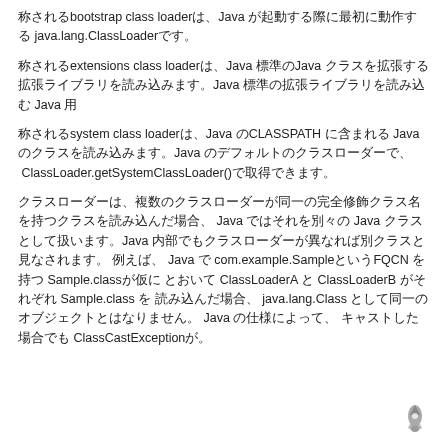称されるbootstrap class loaderは、Java が起動する際に最初に動作する java.lang.ClassLoaderです。
称されるextensions class loaderは、Java 標準のJava クラスを拡張する拡張ライブラリを読み込みます。Java 標準の拡張ライブラリを読み込む Java 用
称されるsystem class loaderは、Java のCLASSPATH に含まれる Java のクラスを読み込みます。Java のデフォルトのクラスローダーで、 ClassLoader.getSystemClassLoader()で取得できます。
クラスローダーは、複数のクラスローダーが同一の完全修飾クラス名を持つクラスを読み込んだ場合、 Java ではそれを別々の Java クラスとして扱います。Java 内部でもクラスローダーが異なれば別クラスと見なされます。 例えば、 Java で com.example.SampleというFQCN を持つ Sample.classが仮に とおいて ClassLoaderA と ClassLoaderB がそれぞれ Sample.class を 読み込んだ場合、 java.lang.Class として同一のオブジェクトとはなりません。 Java の仕様によって、 キャストした場合でも ClassCastExceptionが。